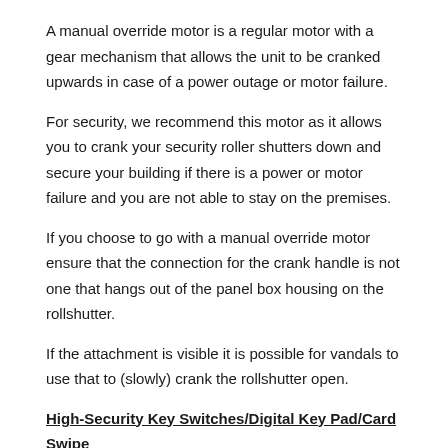A manual override motor is a regular motor with a gear mechanism that allows the unit to be cranked upwards in case of a power outage or motor failure.
For security, we recommend this motor as it allows you to crank your security roller shutters down and secure your building if there is a power or motor failure and you are not able to stay on the premises.
If you choose to go with a manual override motor ensure that the connection for the crank handle is not one that hangs out of the panel box housing on the rollshutter.
If the attachment is visible it is possible for vandals to use that to (slowly) crank the rollshutter open.
High-Security Key Switches/Digital Key Pad/Card Swipe
When securing a main entrance, you will need to have some way to access and operate the rollshutter from the exterior of the building...